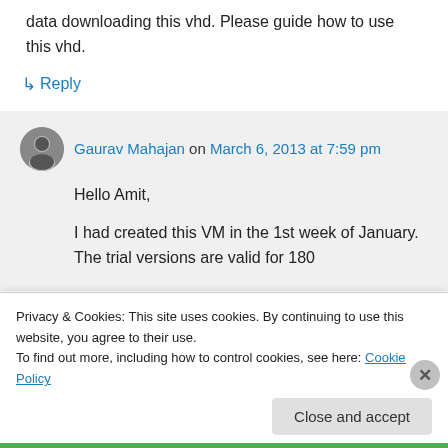data downloading this vhd. Please guide how to use this vhd.
↳ Reply
Gaurav Mahajan on March 6, 2013 at 7:59 pm
Hello Amit,
I had created this VM in the 1st week of January. The trial versions are valid for 180
Privacy & Cookies: This site uses cookies. By continuing to use this website, you agree to their use.
To find out more, including how to control cookies, see here: Cookie Policy